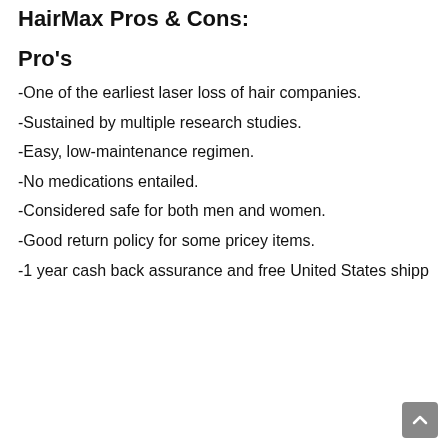HairMax Pros & Cons:
Pro's
-One of the earliest laser loss of hair companies.
-Sustained by multiple research studies.
-Easy, low-maintenance regimen.
-No medications entailed.
-Considered safe for both men and women.
-Good return policy for some pricey items.
-1 year cash back assurance and free United States shipp